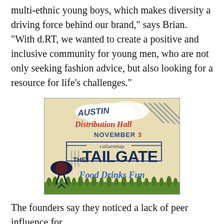multi-ethnic young boys, which makes diversity a driving force behind our brand," says Brian. "With d.RT, we wanted to create a positive and inclusive community for young men, who are not only seeking fashion advice, but also looking for a resource for life's challenges."
[Figure (illustration): Event advertisement for CultureMap The Tailgate at Austin Distribution Hall, November 3. Features a BBQ grill graphic, clouds, green grass, and text: AUSTIN, Distribution Hall, NOVEMBER 3, culturemap, THE TAILGATE, Food Drinks Fun]
The founders say they noticed a lack of peer influence for